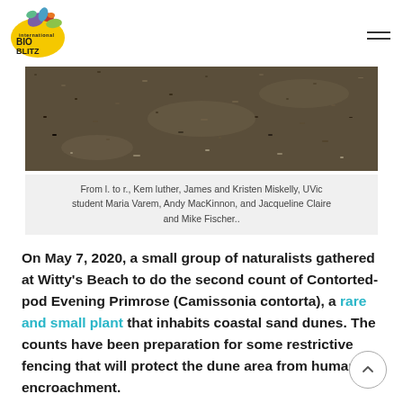[Figure (logo): International BioBlitz logo — yellow oval with illustrated plant and animal motifs, text 'international BIO BLITZ']
[Figure (photo): Close-up photograph of coastal sand, dark granular texture with scattered small debris]
From l. to r., Kem luther, James and Kristen Miskelly, UVic student Maria Varem, Andy MacKinnon, and Jacqueline Claire and Mike Fischer..
On May 7, 2020, a small group of naturalists gathered at Witty's Beach to do the second count of Contorted-pod Evening Primrose (Camissonia contorta), a rare and small plant that inhabits coastal sand dunes. The counts have been preparation for some restrictive fencing that will protect the dune area from human encroachment.